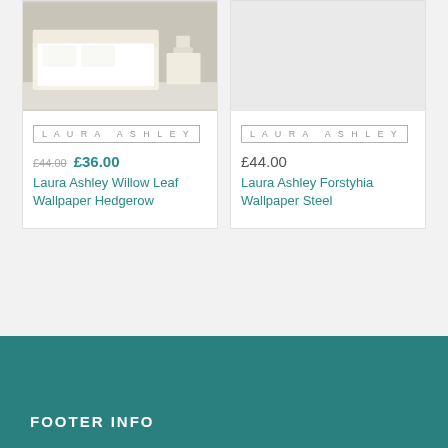[Figure (photo): Laura Ashley Willow Leaf Wallpaper Hedgerow product image showing a bedroom with white furniture]
LAURA ASHLEY
£44.00  £36.00
Laura Ashley Willow Leaf Wallpaper Hedgerow
[Figure (photo): Laura Ashley Forstyhia Wallpaper Steel product image, light grey/empty]
LAURA ASHLEY
£44.00
Laura Ashley Forstyhia Wallpaper Steel
FOOTER INFO